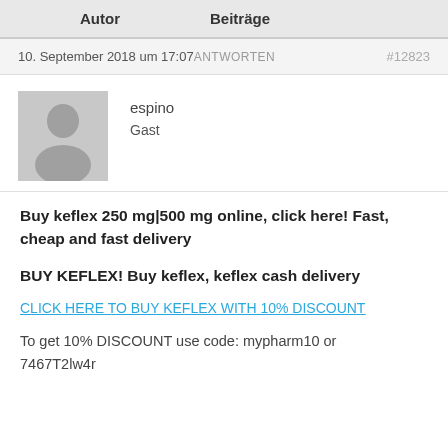| Autor | Beiträge |
| --- | --- |
10. September 2018 um 17:07 ANTWORTEN #12823
[Figure (illustration): Grey placeholder avatar silhouette of a person]
espino
Gast
Buy keflex 250 mg|500 mg online, click here! Fast, cheap and fast delivery
BUY KEFLEX! Buy keflex, keflex cash delivery
CLICK HERE TO BUY KEFLEX WITH 10% DISCOUNT
To get 10% DISCOUNT use code: mypharm10 or 7467T2lw4r